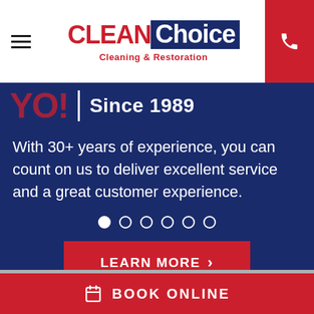CLEAN Choice Cleaning & Restoration
Since 1989
With 30+ years of experience, you can count on us to deliver excellent service and a great customer experience.
LEARN MORE >
BOOK ONLINE